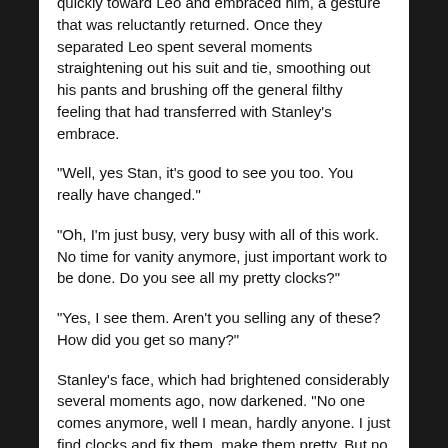quickly toward Leo and embraced him, a gesture that was reluctantly returned.  Once they separated Leo spent several moments straightening out his suit and tie, smoothing out his pants and brushing off the general filthy feeling that had transferred with Stanley's embrace.
“Well, yes Stan, it’s good to see you too.  You really have changed.”
“Oh, I’m just busy, very busy with all of this work.  No time for vanity anymore, just important work to be done.  Do you see all my pretty clocks?”
“Yes, I see them.  Aren’t you selling any of these?  How did you get so many?”
Stanley’s face, which had brightened considerably several moments ago, now darkened.  “No one comes anymore, well I mean, hardly anyone.  I just find clocks and fix them, make them pretty.  But no one comes.”
Leo was pretty sure he knew why that was happening but